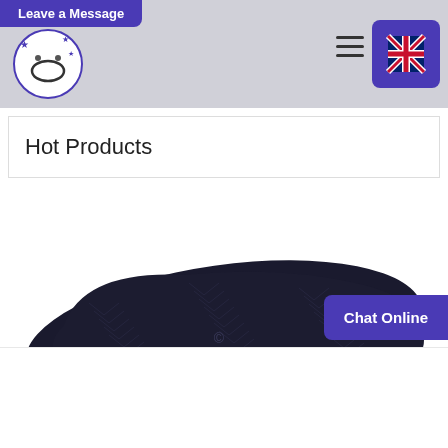Leave a message
[Figure (logo): Brand logo: smiley face with stars in a circular design]
[Figure (illustration): UK flag icon in a purple rounded square button]
Hot Products
[Figure (photo): Dark navy/black rubber shoe sole with herringbone tread pattern, viewed from below at an angle]
Chat Online